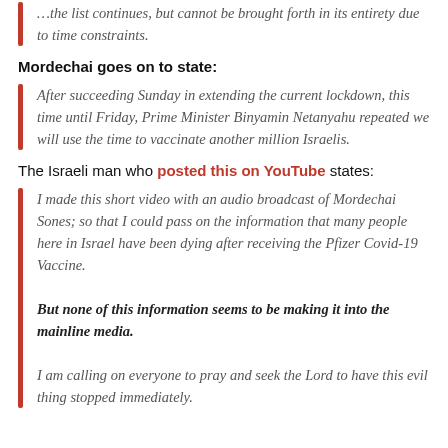…the list continues, but cannot be brought forth in its entirety due to time constraints.
Mordechai goes on to state:
After succeeding Sunday in extending the current lockdown, this time until Friday, Prime Minister Binyamin Netanyahu repeated we will use the time to vaccinate another million Israelis.
The Israeli man who posted this on YouTube states:
I made this short video with an audio broadcast of Mordechai Sones; so that I could pass on the information that many people here in Israel have been dying after receiving the Pfizer Covid-19 Vaccine.

But none of this information seems to be making it into the mainline media.

I am calling on everyone to pray and seek the Lord to have this evil thing stopped immediately.